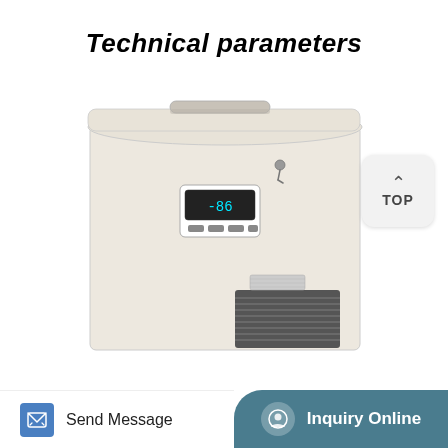Technical parameters
[Figure (photo): A white chest freezer/ultra-low temperature freezer with a lid on top, a digital temperature controller panel in the center front, a lock on the lid, and a ventilation grille at the bottom right. The unit is photographed against a white background.]
TOP
Send Message
Inquiry Online